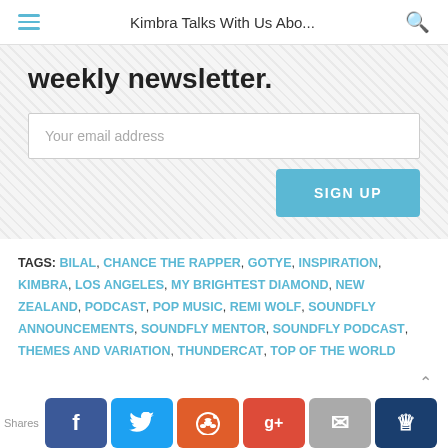Kimbra Talks With Us Abo...
weekly newsletter.
Your email address
SIGN UP
TAGS: BILAL, CHANCE THE RAPPER, GOTYE, INSPIRATION, KIMBRA, LOS ANGELES, MY BRIGHTEST DIAMOND, NEW ZEALAND, PODCAST, POP MUSIC, REMI WOLF, SOUNDFLY ANNOUNCEMENTS, SOUNDFLY MENTOR, SOUNDFLY PODCAST, THEMES AND VARIATION, THUNDERCAT, TOP OF THE WORLD
Shares